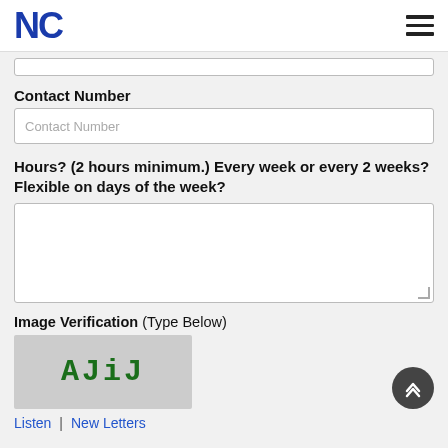NC
Contact Number
Contact Number (input field placeholder)
Hours? (2 hours minimum.) Every week or every 2 weeks? Flexible on days of the week?
(textarea input)
Image Verification (Type Below)
[Figure (other): CAPTCHA image showing text 'AJiJ' in green monospace font on a gray background]
Listen  |  New Letters